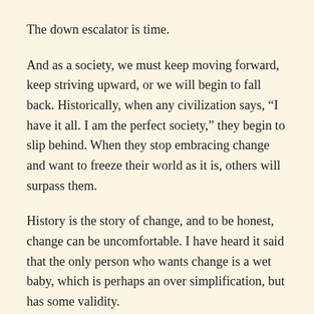The down escalator is time.
And as a society, we must keep moving forward, keep striving upward, or we will begin to fall back. Historically, when any civilization says, “I have it all. I am the perfect society,” they begin to slip behind. When they stop embracing change and want to freeze their world as it is, others will surpass them.
History is the story of change, and to be honest, change can be uncomfortable. I have heard it said that the only person who wants change is a wet baby, which is perhaps an over simplification, but has some validity.
What is happening in so many places today in education is a movement to try to stop change, to stop ideas. Yes, some ideas are uncomfortable. But discomfort is ok. Would a runner or other athlete ever improve if not pushed into a bit of discomfort during practices or even